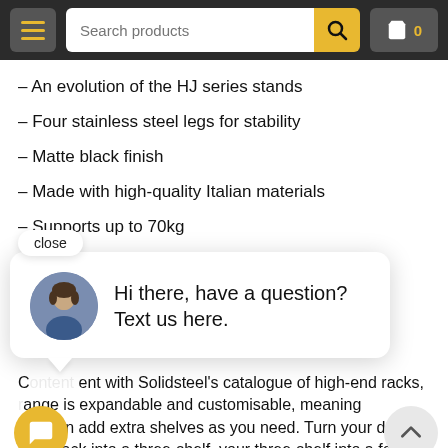[Figure (screenshot): E-commerce website navigation bar with hamburger menu, search products input, search button, and shopping cart with 0 items]
– An evolution of the HJ series stands
– Four stainless steel legs for stability
– Matte black finish
– Made with high-quality Italian materials
– Supports up to 70kg
Materials:
[Figure (screenshot): Live chat popup with close button, avatar photo of a man, and text: Hi there, have a question? Text us here.]
C…ent with Solidsteel's catalogue of high-end racks, …ange is expandable and customisable, meaning you can add extra shelves as you need. Turn your dual-shelf rack into a three-shelf, your three-shelf into a four-